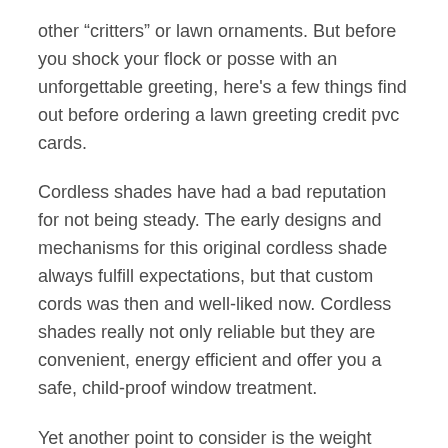other “critters” or lawn ornaments. But before you shock your flock or posse with an unforgettable greeting, here's a few things find out before ordering a lawn greeting credit pvc cards.
Cordless shades have had a bad reputation for not being steady. The early designs and mechanisms for this original cordless shade always fulfill expectations, but that custom cords was then and well-liked now. Cordless shades really not only reliable but they are convenient, energy efficient and offer you a safe, child-proof window treatment.
Yet another point to consider is the weight capacity of this accessory. Is offering important purchasing plan to heavier items on it, such for a cell phone, small electronic devices or gadgets. In this case, you may want to watch out for the items made of heavy duty materials. Whether or not it’s a unit with a retractable reel, then look at the sturdiness on the material used custom credentials for events the retractable cord – the best material to